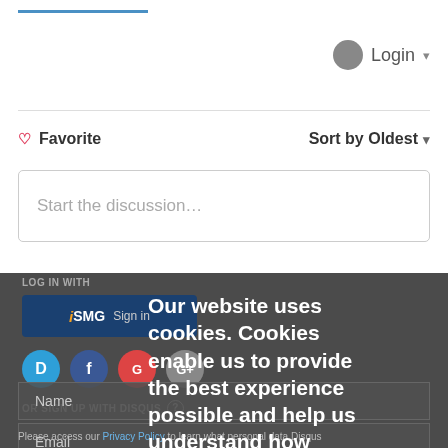Login ▼
♡ Favorite
Sort by Oldest ▼
Start the discussion...
LOG IN WITH
[Figure (screenshot): iSMG Sign In button in dark blue]
[Figure (screenshot): Social login icons: Disqus (D), Facebook (F), Google (G) buttons]
OR SIGN UP WITH DISQUS (?)
Our website uses cookies. Cookies enable us to provide the best experience possible and help us understand how visitors use our website. By browsing govinfosecurity.com, you agree to our use of cookies.
Name
Email
Please access our Privacy Policy to learn what personal data Disqus